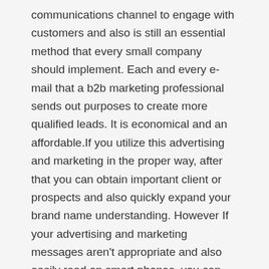communications channel to engage with customers and also is still an essential method that every small company should implement. Each and every e-mail that a b2b marketing professional sends out purposes to create more qualified leads. It is economical and an affordable.If you utilize this advertising and marketing in the proper way, after that you can obtain important client or prospects and also quickly expand your brand name understanding. However If your advertising and marketing messages aren't appropriate and also easily read on smart phones, you can expect consumers to go on. Since the secret to producing the most valuable e-mail marketing campaigns is to offer pertinent information to customers and also make mobile friendly as well.
Individuals don't have sufficient time to review a